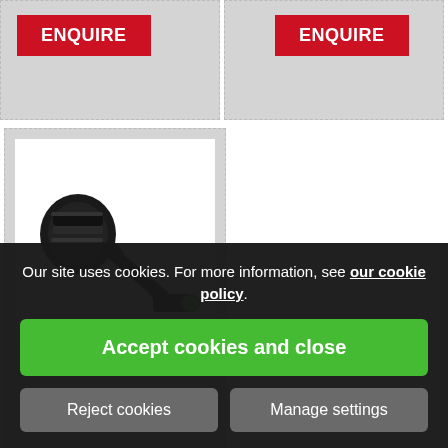[Figure (other): Grey card with red ENQUIRE button, top-left product card]
[Figure (other): Grey card with red ENQUIRE button, top-right product card]
[Figure (photo): Product card showing a black angled fuel nozzle/connector with green tip, Aspen Autofill Non Spill product]
ASPEN AUTOFILL NON SPILL
The A... prote... your environment from... direct contact with...
Our site uses cookies. For more information, see our cookie policy.
Accept cookies and close
Reject cookies
Manage settings